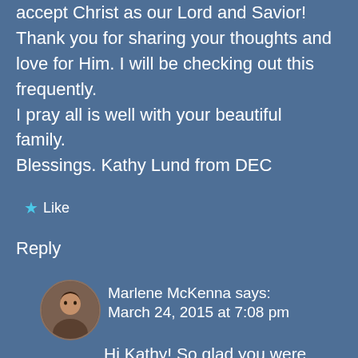accept Christ as our Lord and Savior! Thank you for sharing your thoughts and love for Him. I will be checking out this frequently.
I pray all is well with your beautiful family.
Blessings. Kathy Lund from DEC
★ Like
Reply
Marlene McKenna says: March 24, 2015 at 7:08 pm
Hi Kathy! So glad you were blessed.
I miss your sweet smile and